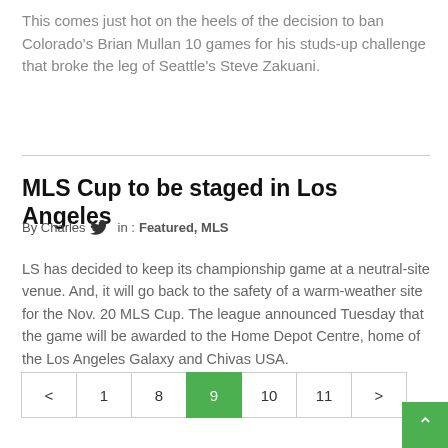This comes just hot on the heels of the decision to ban Colorado's Brian Mullan 10 games for his studs-up challenge that broke the leg of Seattle's Steve Zakuani.
MLS Cup to be staged in Los Angeles
By Charles  in : Featured, MLS
LS has decided to keep its championship game at a neutral-site venue. And, it will go back to the safety of a warm-weather site for the Nov. 20 MLS Cup. The league announced Tuesday that the game will be awarded to the Home Depot Centre, home of the Los Angeles Galaxy and Chivas USA.
Pagination: < 1 8 9 10 11 >